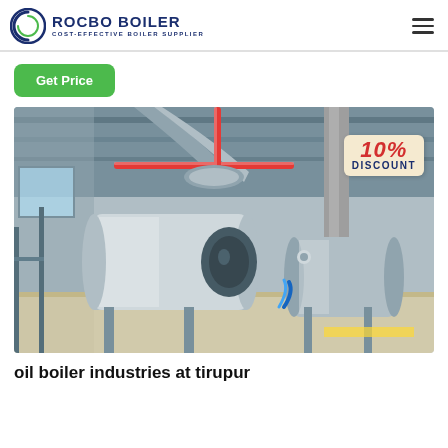ROCBO BOILER — COST-EFFECTIVE BOILER SUPPLIER
Get Price
[Figure (photo): Industrial boiler facility showing large stainless steel horizontal boilers with red-accented pipes and ductwork in an industrial building, with a 10% DISCOUNT badge overlay.]
oil boiler industries at tirupur